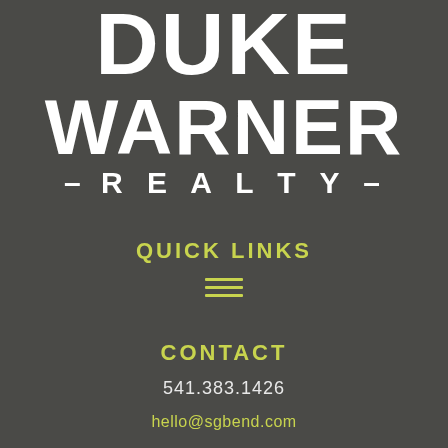[Figure (logo): Duke Warner Realty logo — large white bold uppercase text on dark gray background, showing DUKE on top, WARNER below, and -REALTY- in smaller spaced text]
QUICK LINKS
[Figure (other): Hamburger menu icon — three horizontal green lines]
CONTACT
541.383.1426
hello@sgbend.com